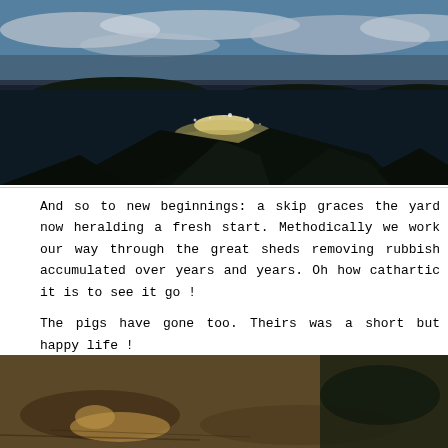[Figure (photo): Coastal seascape photograph showing sunlight reflecting off the ocean, dark rocky outcrops in the foreground, islands in the background, and a partly cloudy sky.]
And so to new beginnings: a skip graces the yard now heralding a fresh start. Methodically we work our way through the great sheds removing rubbish accumulated over years and years. Oh how cathartic it is to see it go !
The pigs have gone too. Theirs was a short but happy life !
[Figure (photo): Photograph showing pigs in mud. Two overlaid text labels read 'pigs in mud' and 'Paul Vincent'.]